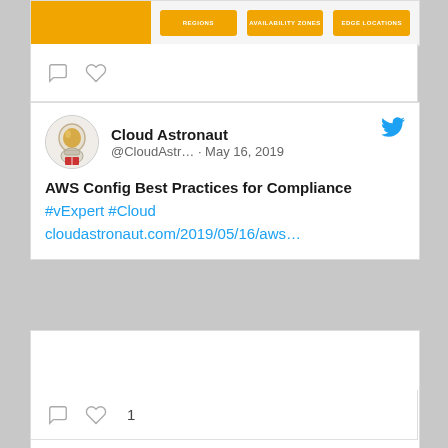[Figure (screenshot): Top bar with orange block on left and three orange buttons labeled REGIONS, AVAILABILITY ZONES, EDGE LOCATIONS]
[Figure (screenshot): Social media interaction bar with comment and heart (like) icons]
Cloud Astronaut
@CloudAstr… · May 16, 2019
AWS Config Best Practices for Compliance #vExpert #Cloud cloudastronaut.com/2019/05/16/aws…
[Figure (logo): AWS logo: large dark navy 'aws' text with orange smile/arrow beneath it]
[Figure (screenshot): Social media interaction bar with comment icon, heart icon, and like count of 1]